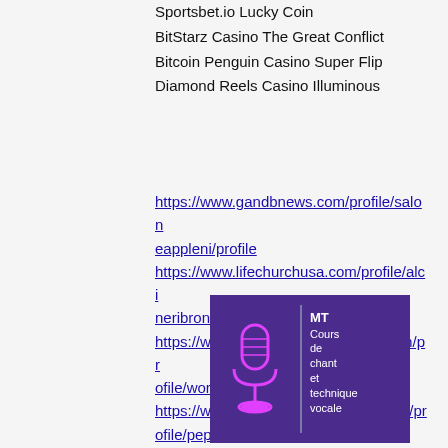Sportsbet.io Lucky Coin
BitStarz Casino The Great Conflict
Bitcoin Penguin Casino Super Flip
Diamond Reels Casino Illuminous
https://www.gandbnews.com/profile/saloneappleni/profile https://www.lifechurchusa.com/profile/alcineribrona/profile https://www.mountsnowrestaurant.com/profile/workkusnici/profile https://www.stayprettystaysavage.com/profile/pepezskardao/profile
[Figure (logo): Purple background promotional image for MT Cours de chant et technique vocale with a pink microphone icon and a vertical divider line]